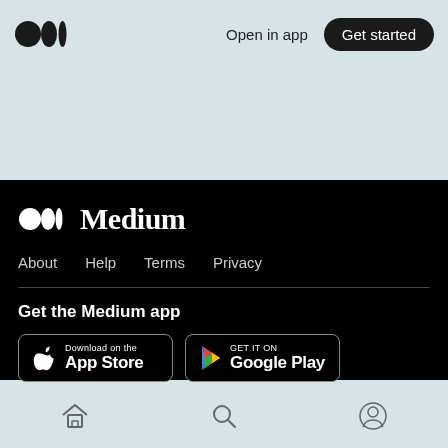Medium logo | Open in app | Get started
[Figure (logo): Medium logo (two filled circles and a vertical bar) in dark color on light blue background]
Open in app
Get started
[Figure (logo): Medium logo (white circles and bar) with word 'Medium' in white serif font on black background]
About  Help  Terms  Privacy
Get the Medium app
[Figure (screenshot): Download on the App Store button with Apple logo]
[Figure (screenshot): GET IT ON Google Play button with Play Store triangle logo]
Home icon | Search icon | Profile icon